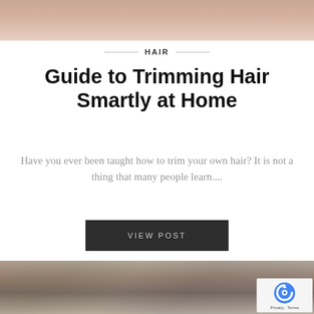[Figure (photo): Top portion of a person's head/hair, cropped close, shown at top of page]
HAIR
Guide to Trimming Hair Smartly at Home
Have you ever been taught how to trim your own hair? It is not a thing that many people learn....
VIEW POST
[Figure (photo): Back of a man's head with short hair, hand touching hair, outdoor background]